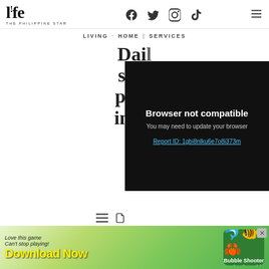life THE PHILIPPINE STAR — social icons: Facebook, Twitter, Instagram, TikTok, Menu
LIVING · HOME | SERVICES
Daily solutions products impro...
[Figure (screenshot): Browser not compatible overlay with message: 'You may need to update your browser' and Report ID: 1gbi8nlku6e7o8i373m]
[Figure (infographic): Mobile game advertisement banner: 'Love this game Can't stop playing! Download Now — Bubble Shooter Animal World']